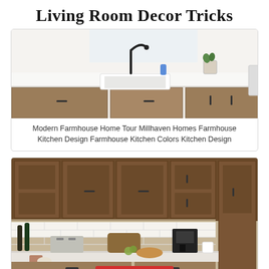Living Room Decor Tricks
[Figure (photo): Modern farmhouse kitchen with white quartz countertops, white farmhouse sink, black faucet, and wood lower cabinets. Small potted plant on the counter near the window.]
Modern Farmhouse Home Tour Millhaven Homes Farmhouse Kitchen Design Farmhouse Kitchen Colors Kitchen Design
[Figure (photo): Rustic farmhouse kitchen with dark stained wood upper cabinets, white subway tile backsplash, white marble-look countertops, and various kitchen appliances including toaster, coffee maker, and wine bottles on the counter.]